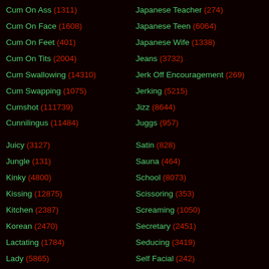Cum On Ass (1311)
Japanese Teacher (274)
Cum On Face (1608)
Japanese Teen (6064)
Cum On Feet (401)
Japanese Wife (1338)
Cum On Tits (2004)
Jeans (3732)
Cum Swallowing (14310)
Jerk Off Encouragement (269)
Cum Swapping (1075)
Jerking (5215)
Cumshot (111739)
Jizz (8644)
Cunnilingus (11484)
Juggs (957)
Juicy (3127)
Satin (828)
Jungle (131)
Sauna (464)
Kinky (4800)
School (8073)
Kissing (12875)
Scissoring (353)
Kitchen (2387)
Screaming (1050)
Korean (2470)
Secretary (2451)
Lactating (1784)
Seducing (3419)
Lady (5865)
Self Facial (242)